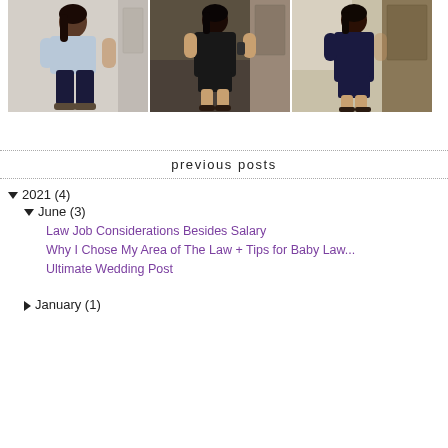[Figure (photo): Three photos in a row of a woman in different outfits: left shows woman in light blue top and dark pants, center shows woman in black dress, right shows woman in navy dress.]
previous posts
▼ 2021 (4)
▼ June (3)
Law Job Considerations Besides Salary
Why I Chose My Area of The Law + Tips for Baby Law...
Ultimate Wedding Post
► January (1)